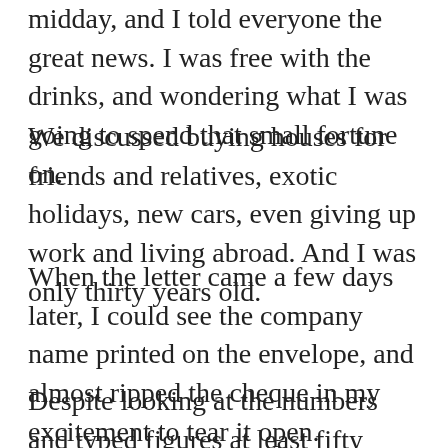midday, and I told everyone the great news. I was free with the drinks, and wondering what I was going to spend that small fortune on.
We discussed buying houses for friends and relatives, exotic holidays, new cars, even giving up work and living abroad. And I was only thirty years old.
When the letter came a few days later, I could see the company name printed on the envelope, and almost ripped the cheque in my excitement to tear it open.
Despite looking at the numbers and typed figures at least fifty times, I had to face the disappointment. It was just £410. The accompanying letter informed me